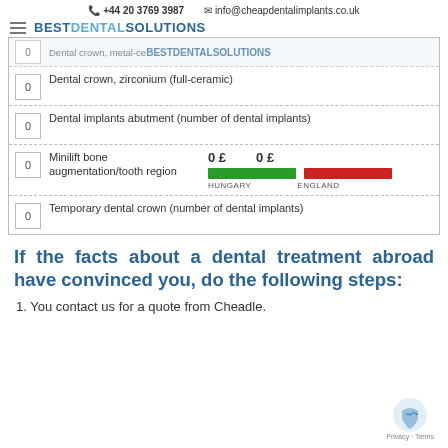+44 20 3769 3987  info@cheapdentalimplants.co.uk
BESTDENTALSOLUTIONS
| Qty | Item |
| --- | --- |
| 0 | Dental crown, zirconium (full-ceramic) |
| 0 | Dental implants abutment (number of dental implants) |
| 0 | Minilift bone augmentation/tooth region |
| 0 | Temporary dental crown (number of dental implants) |
[Figure (bar-chart): Price comparison Hungary vs England]
If the facts about a dental treatment abroad have convinced you, do the following steps:
1. You contact us for a quote from Cheadle.